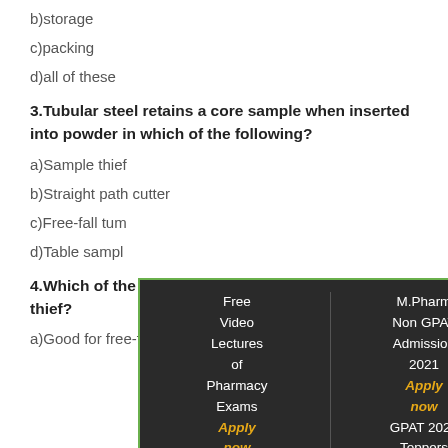b)storage
c)packing
d)all of these
3.Tubular steel retains a core sample when inserted into powder in which of the following?
a)Sample thief
b)Straight path cutter
c)Free-fall tum...
d)Table sampl...
4.Which of the... of sample thief?
a)Good for free-flowing powders
[Figure (screenshot): Popup advertisement overlay with dark background and green border, showing: Free Video Lectures of Pharmacy Exams (Apply now), M.Pharm Non GPAT Admission 2021 (Apply now), GPAT 2022 Toppers Scholarship (Apply now). Has a green close button with X in top-right corner.]